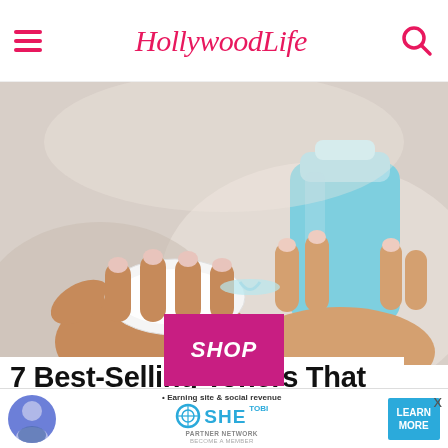HollywoodLife
[Figure (photo): Close-up of hands pouring toner from a blue bottle onto a white cotton pad, beauty/skincare product photo]
SHOP
7 Best-Selling Toners That Will Hydrate & Soften Your Skin This Winter
[Figure (infographic): SHE Media advertisement banner: Earning site & social revenue, SHE Partner Network, Become a Member, Learn More button]